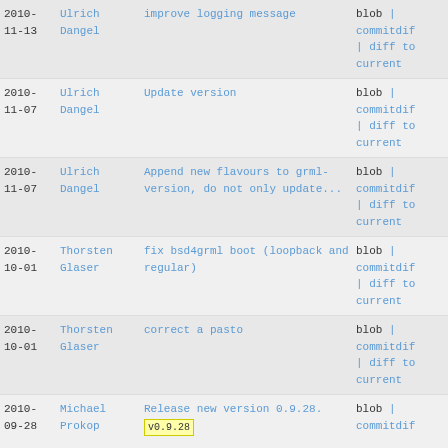2010-11-13 | Ulrich Dangel | improve logging message | blob | commitdiff | diff to current
2010-11-07 | Ulrich Dangel | Update version | blob | commitdiff | diff to current
2010-11-07 | Ulrich Dangel | Append new flavours to grml-version, do not only update... | blob | commitdiff | diff to current
2010-10-01 | Thorsten Glaser | fix bsd4grml boot (loopback and regular) | blob | commitdiff | diff to current
2010-10-01 | Thorsten Glaser | correct a pasto | blob | commitdiff | diff to current
2010-09-28 | Michael Prokop | Release new version 0.9.28. v0.9.28 | blob | commitdiff